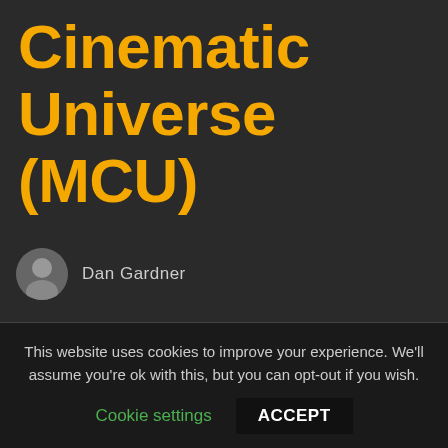Cinematic Universe (MCU)
Dan Gardner
Read Time: 5 Second
Avengers 4 Trailer Hints and Rumors
Several people online are reporting in with seeing the as-yet untitled Avengers 4 trailer, which is expected to
This website uses cookies to improve your experience. We'll assume you're ok with this, but you can opt-out if you wish.
Cookie settings   ACCEPT